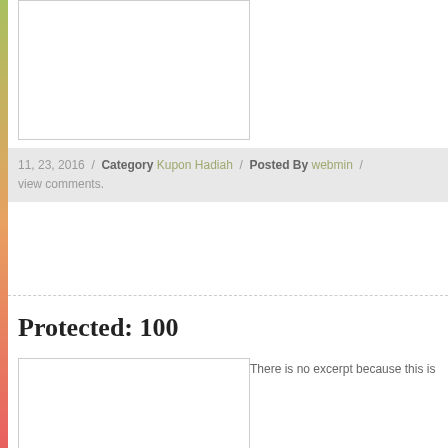[Figure (photo): Top image placeholder box with white background and gray border]
11, 23, 2016  /  Category Kupon Hadiah  /  Posted By webmin  /  view comments.
Protected: 100
[Figure (photo): Bottom image placeholder box with white background and gray border]
There is no excerpt because this is